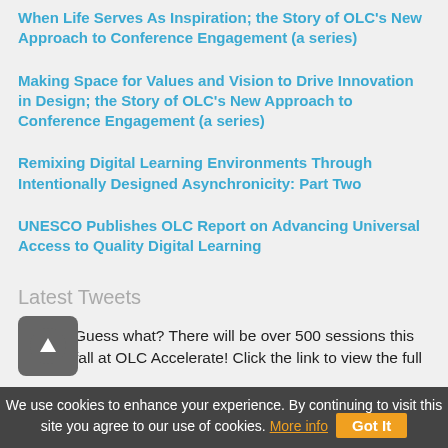When Life Serves As Inspiration; the Story of OLC's New Approach to Conference Engagement (a series)
Making Space for Values and Vision to Drive Innovation in Design; the Story of OLC's New Approach to Conference Engagement (a series)
Remixing Digital Learning Environments Through Intentionally Designed Asynchronicity: Part Two
UNESCO Publishes OLC Report on Advancing Universal Access to Quality Digital Learning
Latest Tweets
Guess what? There will be over 500 sessions this fall at OLC Accelerate! Click the link to view the full
We use cookies to enhance your experience. By continuing to visit this site you agree to our use of cookies. More info   Got It